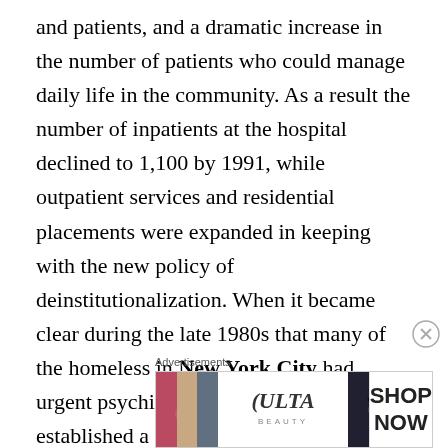and patients, and a dramatic increase in the number of patients who could manage daily life in the community. As a result the number of inpatients at the hospital declined to 1,100 by 1991, while outpatient services and residential placements were expanded in keeping with the new policy of deinstitutionalization. When it became clear during the late 1980s that many of the homeless in New York City had urgent psychiatric needs, Creedmoor established a special impatient program of psychiatric rehabilitation intended specifically for the homeless. The Living Museum, presenting art by patients, was founded by Bolek Greczynski in 1984 in the hospital. In 2001 the city sold part of the mental hospital to residential developers
[Figure (other): Ulta Beauty advertisement banner showing cosmetic images including lips with lipstick, makeup brush, eye makeup, Ulta logo, and a Shop Now button]